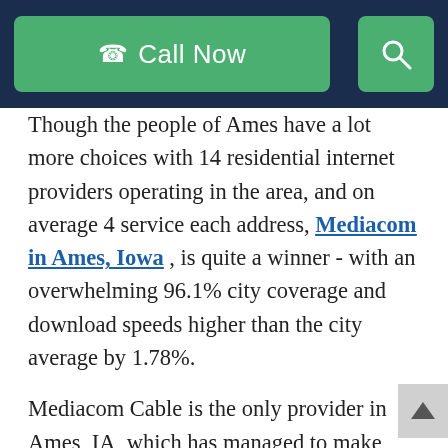[Figure (screenshot): Navigation bar with green 'Call Now' button and green search icon button on dark navy background]
Though the people of Ames have a lot more choices with 14 residential internet providers operating in the area, and on average 4 service each address, Mediacom in Ames, Iowa , is quite a winner - with an overwhelming 96.1% city coverage and download speeds higher than the city average by 1.78%.
Mediacom Cable is the only provider in Ames, IA, which has managed to make Gigabit speeds accessible to almost the entirety of the city at price-points favorable to everyone's pocket.